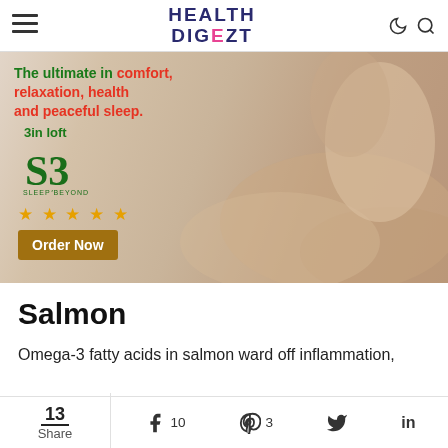HEALTH DIGEZT
[Figure (illustration): Sleep & Beyond mattress topper advertisement showing a woman sleeping on beige bedding with text: The ultimate in comfort, relaxation, health and peaceful sleep. 3in loft. Sleep Beyond logo with 5 stars. Order Now button.]
Salmon
Omega-3 fatty acids in salmon ward off inflammation,
13 Share  10  3  (Twitter)  in